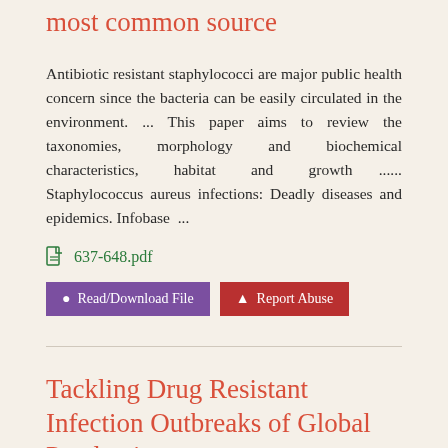most common source
Antibiotic resistant staphylococci are major public health concern since the bacteria can be easily circulated in the environment. ... This paper aims to review the taxonomies, morphology and biochemical characteristics, habitat and growth ...... Staphylococcus aureus infections: Deadly diseases and epidemics. Infobase ...
637-648.pdf
Read/Download File   Report Abuse
Tackling Drug Resistant Infection Outbreaks of Global Pandemic
May 20, 2015 ... Keywords: population genetics;